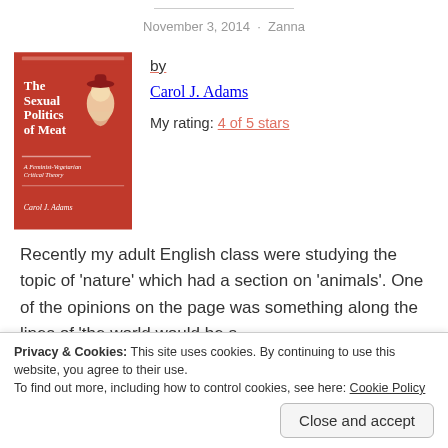November 3, 2014 · Zanna
[Figure (illustration): Book cover of 'The Sexual Politics of Meat: A Feminist-Vegetarian Critical Theory' by Carol J. Adams. Red background with title text and an illustration of a woman figure.]
The Sexual Politics of Meat: A Feminist-Vegetarian Critical Theory by Carol J. Adams
My rating: 4 of 5 stars
Recently my adult English class were studying the topic of 'nature' which had a section on 'animals'. One of the opinions on the page was something along the lines of 'the world would be a
Privacy & Cookies: This site uses cookies. By continuing to use this website, you agree to their use.
To find out more, including how to control cookies, see here: Cookie Policy
Close and accept
chorus of heartfelt 'no!'s. Why not, I wanted to hear, and